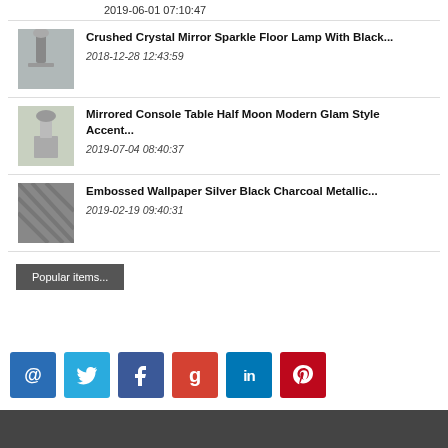2019-06-01 07:10:47
Crushed Crystal Mirror Sparkle Floor Lamp With Black...
2018-12-28 12:43:59
Mirrored Console Table Half Moon Modern Glam Style Accent...
2019-07-04 08:40:37
Embossed Wallpaper Silver Black Charcoal Metallic...
2019-02-19 09:40:31
Popular items...
[Figure (other): Social media icons row: email (@), Twitter, Facebook, Google+, LinkedIn, Pinterest]